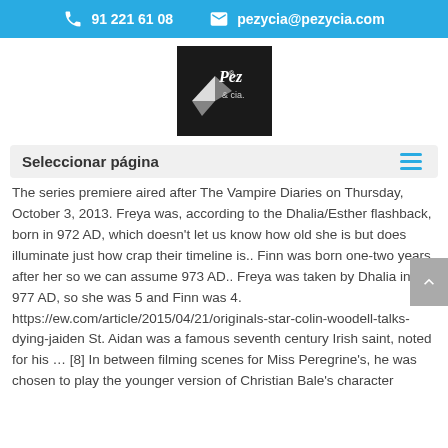91 221 61 08   pezycia@pezycia.com
[Figure (logo): Pez & cia logo — black box with stylized fish and text]
Seleccionar página
The series premiere aired after The Vampire Diaries on Thursday, October 3, 2013. Freya was, according to the Dhalia/Esther flashback, born in 972 AD, which doesn't let us know how old she is but does illuminate just how crap their timeline is.. Finn was born one-two years after her so we can assume 973 AD.. Freya was taken by Dhalia in 977 AD, so she was 5 and Finn was 4. https://ew.com/article/2015/04/21/originals-star-colin-woodell-talks-dying-jaiden St. Aidan was a famous seventh century Irish saint, noted for his … [8] In between filming scenes for Miss Peregrine's, he was chosen to play the younger version of Christian Bale's character